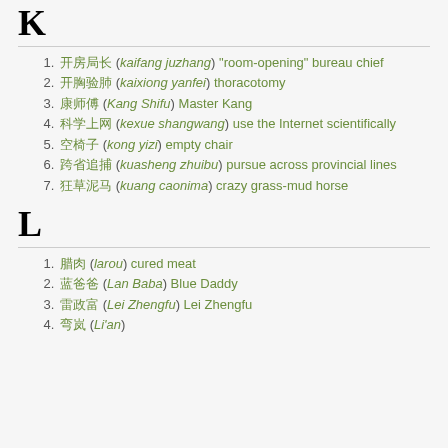K
开房局长 (kaifang juzhang) "room-opening" bureau chief
开胸验肺 (kaixiong yanfei) thoracotomy
康师傅 (Kang Shifu) Master Kang
科学上网 (kexue shangwang) use the Internet scientifically
空椅子 (kong yizi) empty chair
跨省追捕 (kuasheng zhuibu) pursue across provincial lines
狂草泥马 (kuang caonima) crazy grass-mud horse
L
腊肉 (larou) cured meat
蓝爸爸 (Lan Baba) Blue Daddy
雷政富 (Lei Zhengfu) Lei Zhengfu
弯岚 (Li'an)